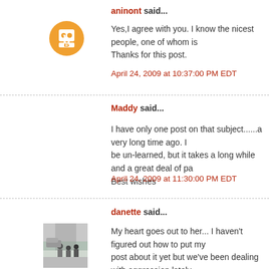aninont said...
Yes,I agree with you. I know the nicest people, one of whom is... Thanks for this post.
April 24, 2009 at 10:37:00 PM EDT
Maddy said...
I have only one post on that subject......a very long time ago. I... be un-learned, but it takes a long while and a great deal of pa... Best wishes
April 24, 2009 at 11:30:00 PM EDT
danette said...
My heart goes out to her... I haven't figured out how to put my post about it yet but we've been dealing with aggression lately exhausting. We went through it with our older boys too (mosth get better, so I keep reminding myself it will get better this time
You're so right, we do know the nicest people :). (And I agree one of them!)